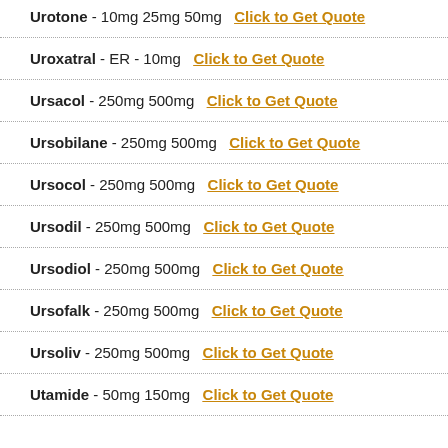Urotone - 10mg 25mg 50mg   Click to Get Quote
Uroxatral - ER - 10mg   Click to Get Quote
Ursacol - 250mg 500mg   Click to Get Quote
Ursobilane - 250mg 500mg   Click to Get Quote
Ursocol - 250mg 500mg   Click to Get Quote
Ursodil - 250mg 500mg   Click to Get Quote
Ursodiol - 250mg 500mg   Click to Get Quote
Ursofalk - 250mg 500mg   Click to Get Quote
Ursoliv - 250mg 500mg   Click to Get Quote
Utamide - 50mg 150mg   Click to Get Quote